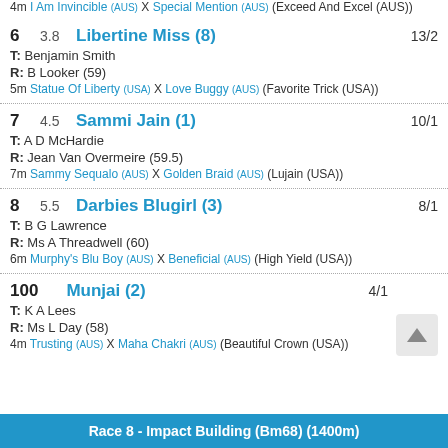4m I Am Invincible (AUS) X Special Mention (AUS) (Exceed And Excel (AUS))
6  3.8  Libertine Miss (8)  13/2
T: Benjamin Smith
R: B Looker (59)
5m Statue Of Liberty (USA) X Love Buggy (AUS) (Favorite Trick (USA))
7  4.5  Sammi Jain (1)  10/1
T: A D McHardie
R: Jean Van Overmeire (59.5)
7m Sammy Sequalo (AUS) X Golden Braid (AUS) (Lujain (USA))
8  5.5  Darbies Blugirl (3)  8/1
T: B G Lawrence
R: Ms A Threadwell (60)
6m Murphy's Blu Boy (AUS) X Beneficial (AUS) (High Yield (USA))
100  Munjai (2)  4/1
T: K A Lees
R: Ms L Day (58)
4m Trusting (AUS) X Maha Chakri (AUS) (Beautiful Crown (USA))
Race 8 - Impact Building (Bm68) (1400m)